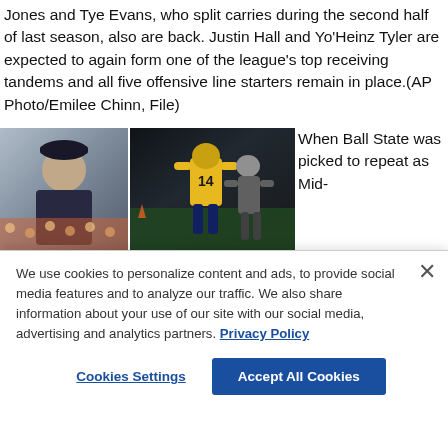Jones and Tye Evans, who split carries during the second half of last season, also are back. Justin Hall and Yo'Heinz Tyler are expected to again form one of the league's top receiving tandems and all five offensive line starters remain in place.(AP Photo/Emilee Chinn, File)
[Figure (photo): Photo of a football coach on the sideline wearing dark striped polo]
[Figure (photo): Action photo of a football player in yellow #14 jersey running with ball]
When Ball State was picked to repeat as Mid-
[Figure (photo): Partial photo below the coach image, cropped]
We use cookies to personalize content and ads, to provide social media features and to analyze our traffic. We also share information about your use of our site with our social media, advertising and analytics partners. Privacy Policy
Cookies Settings
Accept All Cookies